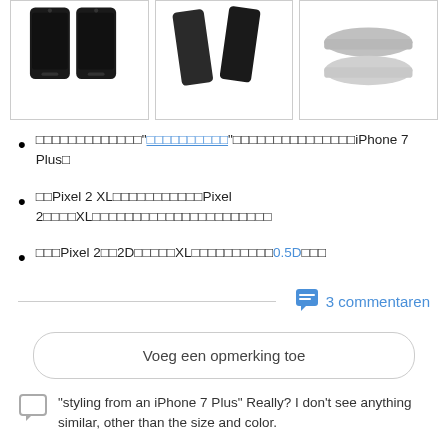[Figure (photo): Three product image boxes showing smartphones/tablets from different angles - left: two dark smartphones front view, middle: two dark phones at angle, right: two flat tablet-like objects]
□□□□□□□□□□□□□"□□□□□□□□□□"□□□□□□□□□□□□□□□iPhone 7 Plus□
□□Pixel 2 XL□□□□□□□□□□□Pixel 2□□□□XL□□□□□□□□□□□□□□□□□□□□□□
□□□Pixel 2□□2D□□□□□XL□□□□□□□□□□□0.5D□□□
3 commentaren
Voeg een opmerking toe
"styling from an iPhone 7 Plus" Really? I don't see anything similar, other than the size and color.